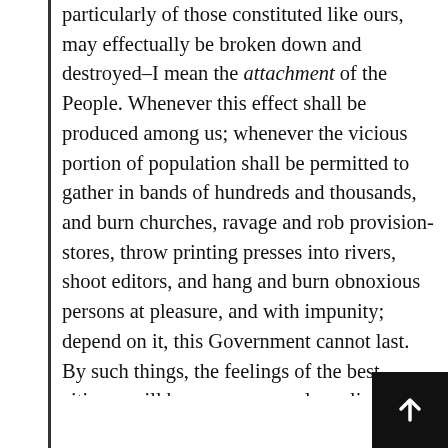particularly of those constituted like ours, may effectually be broken down and destroyed–I mean the attachment of the People. Whenever this effect shall be produced among us; whenever the vicious portion of population shall be permitted to gather in bands of hundreds and thousands, and burn churches, ravage and rob provision-stores, throw printing presses into rivers, shoot editors, and hang and burn obnoxious persons at pleasure, and with impunity; depend on it, this Government cannot last. By such things, the feelings of the best citizens will become more or less alienated from it; and thus it will be left without friends, or with too few, and those few too weak, to make their friendship effectual. At such a time and under such circumstances, men of sufficient talent and ambition will not be wanting to seize the opportunity, strike the blow, and overturn that